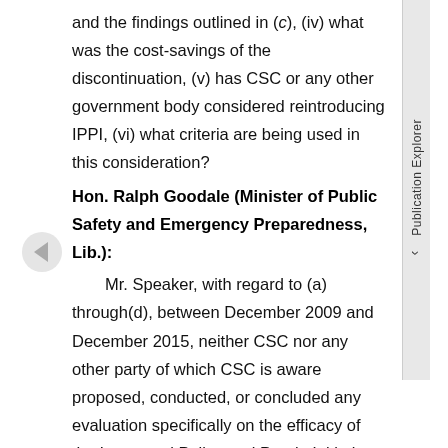and the findings outlined in (c), (iv) what was the cost-savings of the discontinuation, (v) has CSC or any other government body considered reintroducing IPPI, (vi) what criteria are being used in this consideration?
Hon. Ralph Goodale (Minister of Public Safety and Emergency Preparedness, Lib.):
Mr. Speaker, with regard to (a) through(d), between December 2009 and December 2015, neither CSC nor any other party of which CSC is aware proposed, conducted, or concluded any evaluation specifically on the efficacy of the Integrated Police and Parole Initiative, or IPPI.
With regard to (e)(i), the decision to conclude the IPPI was based on the results of a national consultation that took place in 2013 with the stakeholders of the intelligence program. Fiscal constraints within CSC generated the impetus for this